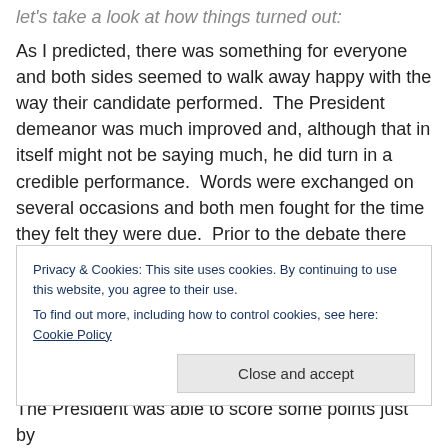let's take a look at how things turned out:
As I predicted, there was something for everyone and both sides seemed to walk away happy with the way their candidate performed.  The President demeanor was much improved and, although that in itself might not be saying much, he did turn in a credible performance.  Words were exchanged on several occasions and both men fought for the time they felt they were due.  Prior to the debate there were those who had suggested that the Town hall format might favor Mr. Obama on the assumption that the questions were to be formulated and asked by individual
Privacy & Cookies: This site uses cookies. By continuing to use this website, you agree to their use.
To find out more, including how to control cookies, see here: Cookie Policy
Close and accept
The President was able to score some points just by